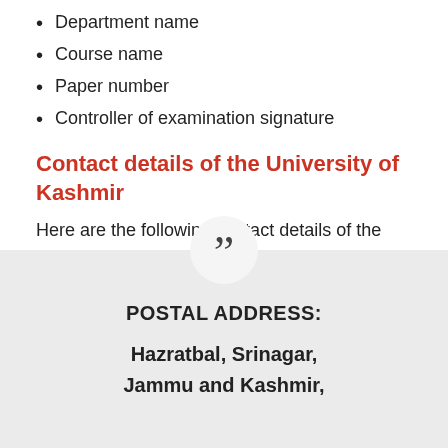Department name
Course name
Paper number
Controller of examination signature
Contact details of the University of Kashmir
Here are the following contact details of the University of Kashmir which are given below for the students who are having doubts can contact these details.
POSTAL ADDRESS:
Hazratbal, Srinagar,
Jammu and Kashmir,